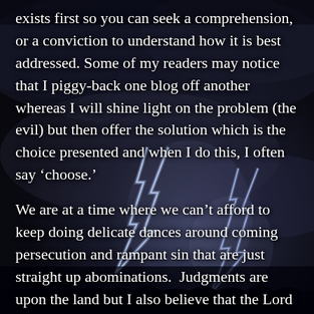[Figure (photo): Dark stormy sky with dramatic lightning bolts striking in the background, creating an ominous atmosphere with dark blue-grey storm clouds.]
exists first so you can seek a comprehension, or a conviction to understand how it is best addressed. Some of my readers may notice that I piggy-back one blog off another whereas I will shine light on the problem (the evil) but then offer the solution which is the choice presented and when I do this, I often say ‘choose.’
We are at a time where we can’t afford to keep doing delicate dances around coming persecution and rampant sin that are just straight up abominations. Judgments are upon the land but I also believe that the Lord can use any situation to bring salvation to them. He desires to save, not all